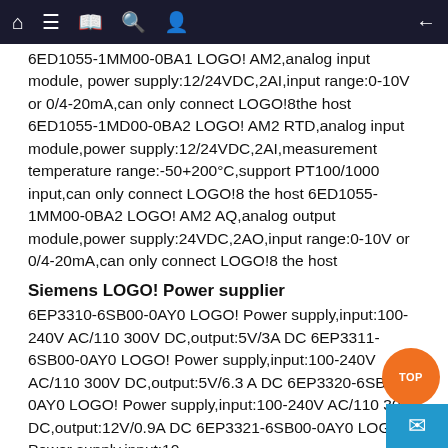Navigation bar with home, menu, book, search, user icons and back arrow
6ED1055-1MM00-0BA1 LOGO! AM2,analog input module, power supply:12/24VDC,2AI,input range:0-10V or 0/4-20mA,can only connect LOGO!8the host 6ED1055-1MD00-0BA2 LOGO! AM2 RTD,analog input module,power supply:12/24VDC,2AI,measurement temperature range:-50+200°C,support PT100/1000 input,can only connect LOGO!8 the host 6ED1055-1MM00-0BA2 LOGO! AM2 AQ,analog output module,power supply:24VDC,2AO,input range:0-10V or 0/4-20mA,can only connect LOGO!8 the host
Siemens LOGO! Power supplier
6EP3310-6SB00-0AY0 LOGO! Power supply,input:100-240V AC/110 300V DC,output:5V/3A DC 6EP3311-6SB00-0AY0 LOGO! Power supply,input:100-240V AC/110 300V DC,output:5V/6.3 A DC 6EP3320-6SB00-0AY0 LOGO! Power supply,input:100-240V AC/110 300V DC,output:12V/0.9A DC 6EP3321-6SB00-0AY0 LOGO! Power supply,input:10